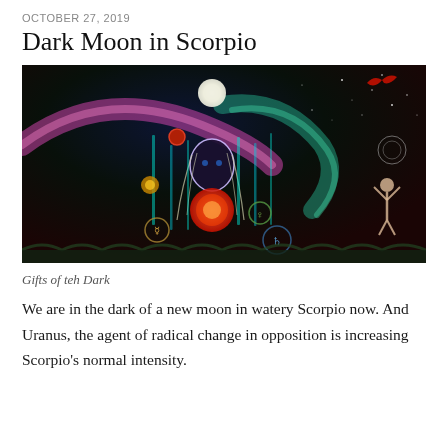OCTOBER 27, 2019
Dark Moon in Scorpio
[Figure (illustration): Colorful mystical painting titled 'Gifts of teh Dark' showing a goddess figure with flowing hair surrounded by astrological symbols, a dark sky with stars, glowing orbs, cyan vertical lines, and a small figure with raised arms on the right side. A full moon appears above the central figure.]
Gifts of teh Dark
We are in the dark of a new moon in watery Scorpio now. And Uranus, the agent of radical change in opposition is increasing Scorpio's normal intensity.